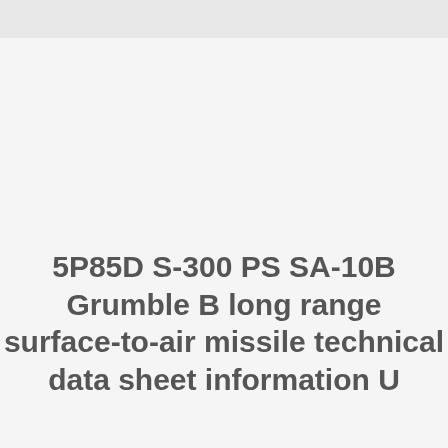5P85D S-300 PS SA-10B Grumble B long range surface-to-air missile technical data sheet information U